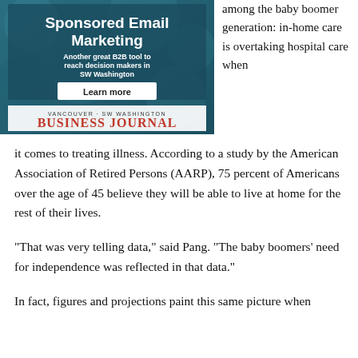[Figure (illustration): Vancouver SW Washington Business Journal sponsored email marketing advertisement. Dark teal/blue background with water texture. White bold text: 'Sponsored Email Marketing'. Subtitle: 'Another great B2B tool to reach decision makers in SW Washington'. White button with bold text: 'Learn more'. VANCOUVER·SW WASHINGTON BUSINESS JOURNAL logo at bottom with red 'BUSINESS JOURNAL' text.]
among the baby boomer generation: in-home care is overtaking hospital care when
it comes to treating illness. According to a study by the American Association of Retired Persons (AARP), 75 percent of Americans over the age of 45 believe they will be able to live at home for the rest of their lives.
“That was very telling data,” said Pang. “The baby boomers’ need for independence was reflected in that data.”
In fact, figures and projections paint this same picture when